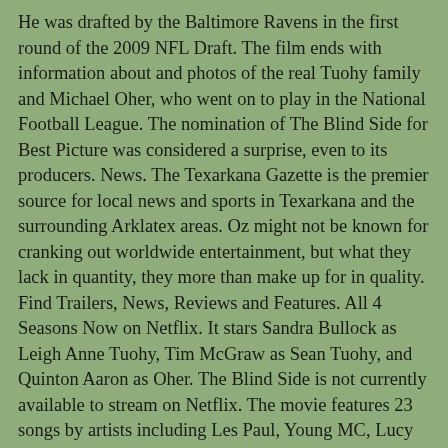He was drafted by the Baltimore Ravens in the first round of the 2009 NFL Draft. The film ends with information about and photos of the real Tuohy family and Michael Oher, who went on to play in the National Football League. The nomination of The Blind Side for Best Picture was considered a surprise, even to its producers. News. The Texarkana Gazette is the premier source for local news and sports in Texarkana and the surrounding Arklatex areas. Oz might not be known for cranking out worldwide entertainment, but what they lack in quantity, they more than make up for in quality. Find Trailers, News, Reviews and Features. All 4 Seasons Now on Netflix. It stars Sandra Bullock as Leigh Anne Tuohy, Tim McGraw as Sean Tuohy, and Quinton Aaron as Oher. The Blind Side is not currently available to stream on Netflix. The movie features 23 songs by artists including Les Paul, Young MC, Lucy Woodward, The Books, Canned Heat, Five for Fighting, and the film's co-star Tim McGraw. Later, Michael is befriended by a younger student named Sean Jr. ("SJ"). [22] Audiences polled by CinemaScore gave the film a rare "A+" grade. Keep track of the movies you're waiting for, rate/review movies and get the latest movie news. FINE PRINT & DISCLAIMER: Flick's official rating: Pretty good, but not perfect. About the most incongruous thing about Blindsight may be its attractiveness. [14] The Blind Side has also become the highest grossing football movie and sports drama of all time domestically[15][16] unadjusted for ticket inflation. Learning that he is one of her daughter's classmates,